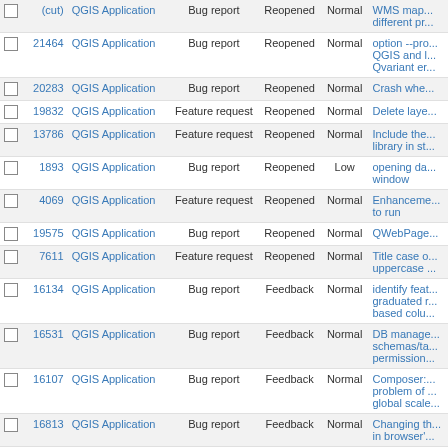|  | # | Project | Tracker | Status | Priority | Subject |
| --- | --- | --- | --- | --- | --- | --- |
| ☐ | (cut) | QGIS Application | Bug report | Reopened | Normal | WMS map... different pr... |
| ☐ | 21464 | QGIS Application | Bug report | Reopened | Normal | option --pro... QGIS and l... Qvariant er... |
| ☐ | 20283 | QGIS Application | Bug report | Reopened | Normal | Crash whe... |
| ☐ | 19832 | QGIS Application | Feature request | Reopened | Normal | Delete laye... |
| ☐ | 13786 | QGIS Application | Feature request | Reopened | Normal | Include the... library in st... |
| ☐ | 1893 | QGIS Application | Bug report | Reopened | Low | opening da... window |
| ☐ | 4069 | QGIS Application | Feature request | Reopened | Normal | Enhanceme... to run |
| ☐ | 19575 | QGIS Application | Bug report | Reopened | Normal | QWebPage... |
| ☐ | 7611 | QGIS Application | Feature request | Reopened | Normal | Title case o... uppercase ... |
| ☐ | 16134 | QGIS Application | Bug report | Feedback | Normal | identify feat... graduated r... based colu... |
| ☐ | 16531 | QGIS Application | Bug report | Feedback | Normal | DB manage... schemas/ta... permission... |
| ☐ | 16107 | QGIS Application | Bug report | Feedback | Normal | Composer:... problem of ... global scale... |
| ☐ | 16813 | QGIS Application | Bug report | Feedback | Normal | Changing th... in browser'... |
| ☐ | 17119 | QGIS Application | Bug report | Feedback | Normal | master usi... |
| ☐ | 16768 | QGIS Application | Bug report | Feedback | Normal | No default a... windows?) |
| ☐ | 16986 | QGIS Application | Bug report | Feedback | Normal | Feature... |